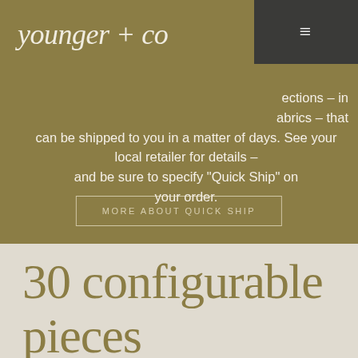younger + co
ections – in abrics – that can be shipped to you in a matter of days. See your local retailer for details – and be sure to specify “Quick Ship” on your order.
MORE ABOUT QUICK SHIP
30 configurable pieces